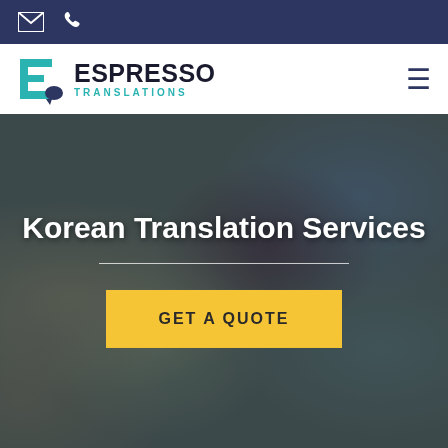Espresso Translations - top navigation bar with email and phone icons
[Figure (logo): Espresso Translations logo with teal E icon and dark navy text]
Korean Translation Services
[Figure (photo): Background world map globe photo with dark blue overlay]
GET A QUOTE